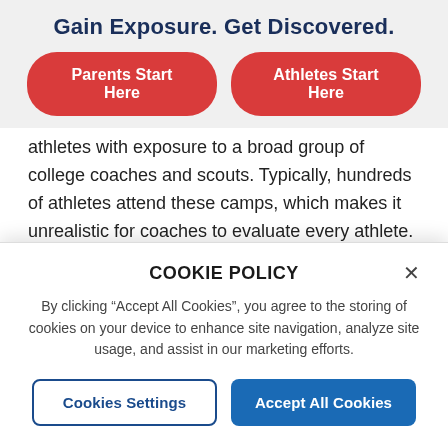Gain Exposure. Get Discovered.
Parents Start Here
Athletes Start Here
athletes with exposure to a broad group of college coaches and scouts. Typically, hundreds of athletes attend these camps, which makes it unrealistic for coaches to evaluate every athlete. Third-party camps can be more expensive than other camps, but if athletes do their homework, they can be beneficial. Like baseball tournaments, athletes should make sure they are on...
COOKIE POLICY
By clicking “Accept All Cookies”, you agree to the storing of cookies on your device to enhance site navigation, analyze site usage, and assist in our marketing efforts.
Cookies Settings
Accept All Cookies